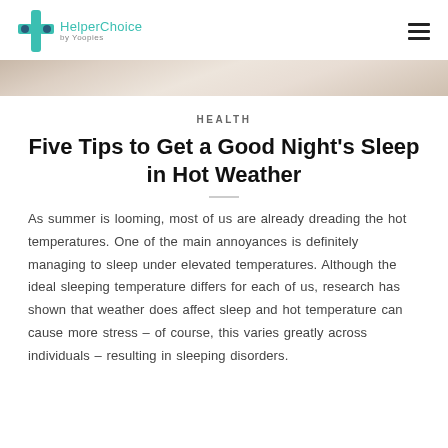HelperChoice by Yoopies
[Figure (photo): A close-up hero image strip showing a wooden surface or bedframe, warm beige/tan tones]
HEALTH
Five Tips to Get a Good Night's Sleep in Hot Weather
As summer is looming, most of us are already dreading the hot temperatures. One of the main annoyances is definitely managing to sleep under elevated temperatures. Although the ideal sleeping temperature differs for each of us, research has shown that weather does affect sleep and hot temperature can cause more stress – of course, this varies greatly across individuals – resulting in sleeping disorders.